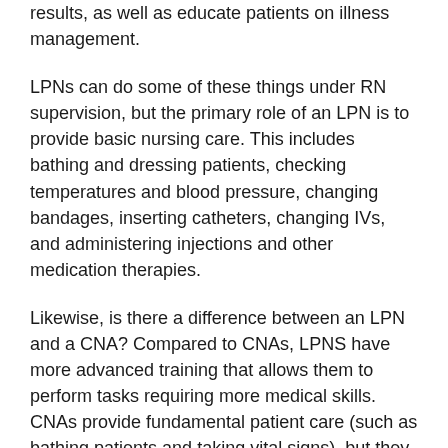results, as well as educate patients on illness management.
LPNs can do some of these things under RN supervision, but the primary role of an LPN is to provide basic nursing care. This includes bathing and dressing patients, checking temperatures and blood pressure, changing bandages, inserting catheters, changing IVs, and administering injections and other medication therapies.
Likewise, is there a difference between an LPN and a CNA? Compared to CNAs, LPNS have more advanced training that allows them to perform tasks requiring more medical skills. CNAs provide fundamental patient care (such as bathing patients and taking vital signs), but they typically practice under the direction of LPNs and RNs.